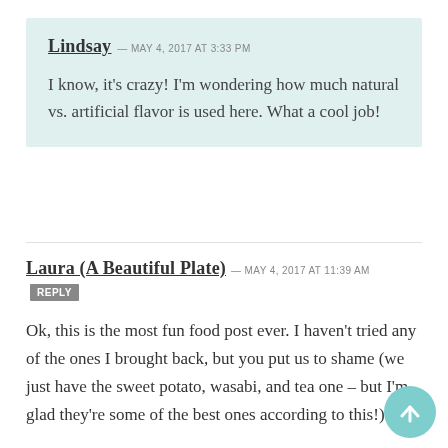Lindsay — MAY 4, 2017 at 3:33 PM
I know, it's crazy! I'm wondering how much natural vs. artificial flavor is used here. What a cool job!
Laura (A Beautiful Plate) — MAY 4, 2017 at 11:39 AM  REPLY
Ok, this is the most fun food post ever. I haven't tried any of the ones I brought back, but you put us to shame (we just have the sweet potato, wasabi, and tea one – but I'm glad they're some of the best ones according to this!).